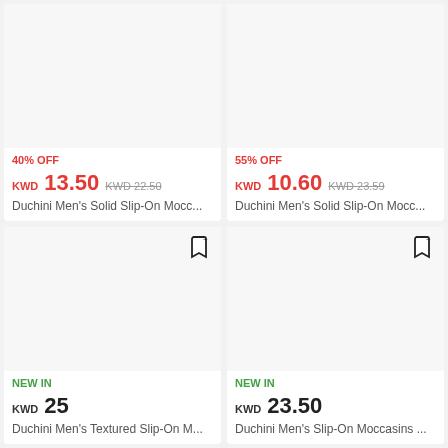[Figure (photo): Product card: Duchini Men's Solid Slip-On Moccasin, 40% OFF, KWD 13.50 (was KWD 22.50)]
[Figure (photo): Product card: Duchini Men's Solid Slip-On Moccasin, 55% OFF, KWD 10.60 (was KWD 23.59)]
[Figure (photo): Product card: Duchini Men's Textured Slip-On M..., NEW IN, KWD 25]
[Figure (photo): Product card: Duchini Men's Slip-On Moccasins..., NEW IN, KWD 23.50]